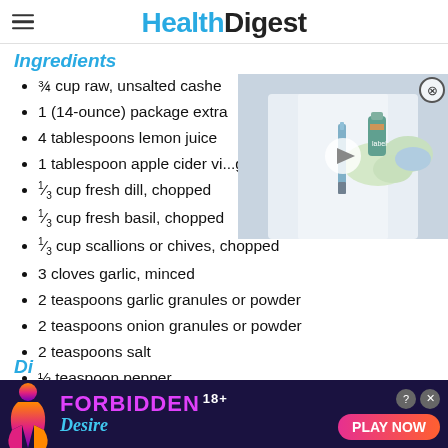Health Digest
Ingredients
¾ cup raw, unsalted cashe...
1 (14-ounce) package extra...
4 tablespoons lemon juice...
1 tablespoon apple cider vinegar
⅓ cup fresh dill, chopped
⅓ cup fresh basil, chopped
⅓ cup scallions or chives, chopped
3 cloves garlic, minced
2 teaspoons garlic granules or powder
2 teaspoons onion granules or powder
2 teaspoons salt
½ teaspoon pepper
[Figure (screenshot): Video overlay showing a doctor in white coat holding a syringe and vial, with a play button overlay]
[Figure (screenshot): Advertisement banner for 'Forbidden Desire 18+' with PLAY NOW button]
Di...